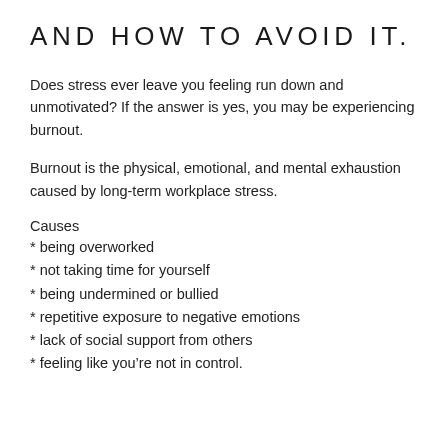AND HOW TO AVOID IT.
Does stress ever leave you feeling run down and unmotivated? If the answer is yes, you may be experiencing burnout.
Burnout is the physical, emotional, and mental exhaustion caused by long-term workplace stress.
Causes
* being overworked
* not taking time for yourself
* being undermined or bullied
* repetitive exposure to negative emotions
* lack of social support from others
* feeling like you're not in control.